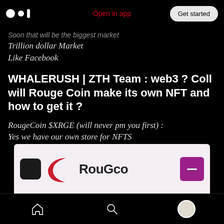Medium logo | Open in app | Get started
Soon that will be the biggest market
Trillion dollar Market
Like Facebook
WHALERUSH | ZTH Team : web3 ? Coll will Rouge Coin make its own NFT and how to get it ?
RougeCoin $XRGE (will never pm you first) : Yes we have our own store for NFTS
[Figure (screenshot): Partial screenshot of RougeCoin app/website showing logo with red crescent arc, dark icon, 'RouGeo' text, and a purple button with minus icon on pink background]
Navigation bar with home, search, and profile icons